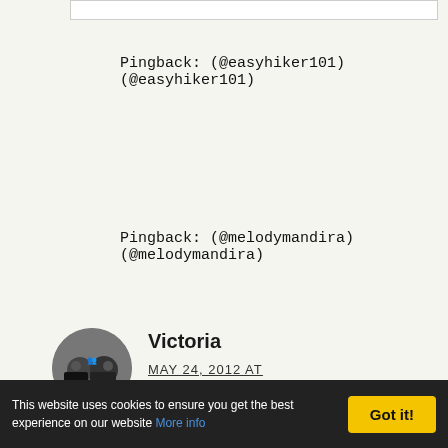Pingback: (@easyhiker101) (@easyhiker101)
Pingback: (@melodymandira) (@melodymandira)
Victoria
MAY 24, 2012 AT
Great tips about long-term travelling. Quite similar
This website uses cookies to ensure you get the best experience on our website More info